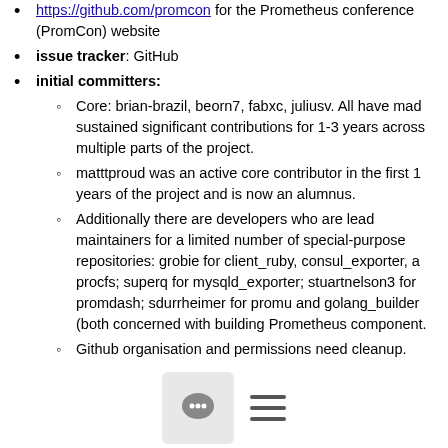https://github.com/promcon for the Prometheus conference (PromCon) website
issue tracker: GitHub
initial committers:
Core: brian-brazil, beorn7, fabxc, juliusv. All have made sustained significant contributions for 1-3 years across multiple parts of the project.
matttproud was an active core contributor in the first 1 years of the project and is now an alumnus.
Additionally there are developers who are lead maintainers for a limited number of special-purpose repositories: grobie for client_ruby, consul_exporter, a procfs; superq for mysqld_exporter; stuartnelson3 for promdash; sdurrheimer for promu and golang_builder (both concerned with building Prometheus component.
Github organisation and permissions need cleanup.
infrastructure requirements (CI / CNCF Cluster)
A partial list follows - project team is not 100% sure wh is best / possible.
[Figure (other): Bottom toolbar with comment bubble icon button and hamburger menu icon]